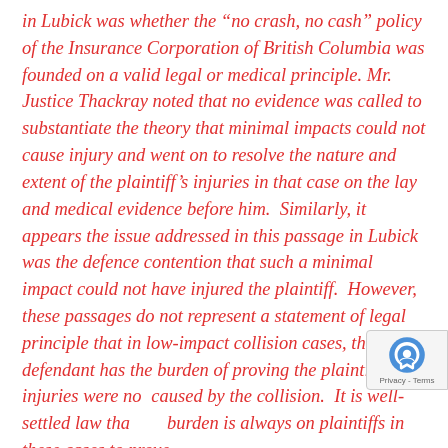in Lubick was whether the "no crash, no cash" policy of the Insurance Corporation of British Columbia was founded on a valid legal or medical principle. Mr. Justice Thackray noted that no evidence was called to substantiate the theory that minimal impacts could not cause injury and went on to resolve the nature and extent of the plaintiff's injuries in that case on the lay and medical evidence before him.  Similarly, it appears the issue addressed in this passage in Lubick was the defence contention that such a minimal impact could not have injured the plaintiff.  However, these passages do not represent a statement of legal principle that in low-impact collision cases, the defendant has the burden of proving the plaintiff's injuries were not caused by the collision.  It is well-settled law that the burden is always on plaintiffs in these cases to prove